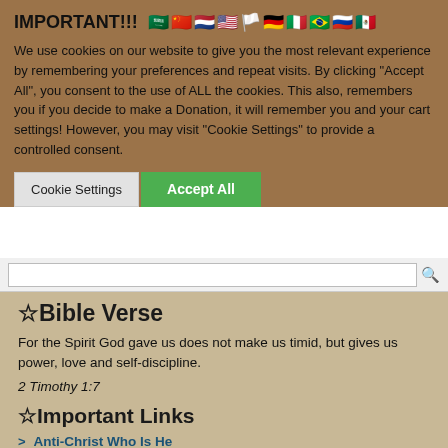IMPORTANT!!!
We use cookies on our website to give you the most relevant experience by remembering your preferences and repeat visits. By clicking "Accept All", you consent to the use of ALL the cookies. This also, remembers you if you decide to make a Donation, it will remember you and your cart settings! However, you may visit "Cookie Settings" to provide a controlled consent.
☆Bible Verse
For the Spirit God gave us does not make us timid, but gives us power, love and self-discipline.
2 Timothy 1:7
☆Important Links
Anti-Christ Who Is He
Confusing The Devil